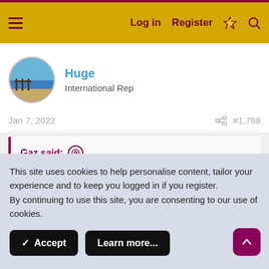Log in  Register
Huge
International Rep
Jan 7, 2022  #1,788
Gaz said:
This site uses cookies to help personalise content, tailor your experience and to keep you logged in if you register.
By continuing to use this site, you are consenting to our use of cookies.
Accept  Learn more...